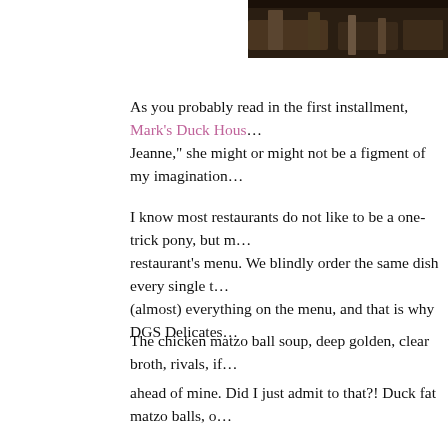[Figure (photo): Photo of what appears to be a restaurant interior with chairs/tables, dark toned image in upper right corner]
As you probably read in the first installment, Mark's Duck Hous... Jeanne," she might or might not be a figment of my imagination...
I know most restaurants do not like to be a one-trick pony, but m... restaurant's menu. We blindly order the same dish every single t... (almost) everything on the menu, and that is why DGS Delicates...
The chicken matzo ball soup, deep golden, clear broth, rivals, if...
ahead of mine. Did I just admit to that?! Duck fat matzo balls, o... book. I don't want a hint of duck in my classic Jewish soup, but... them. They are perfectly airy and shape all intact. Visually, I lov... translucent consommé filled soup bowl. Waiting transfixed, susp...
Jeanne, who didn't accompany me to DGS, but went there, not c... "We LOVED this place, Shulie. Thank you so much for the reco... ever had, and I am as Jewish as a Chinese girl gets!!"
As die hard NYC's Katz's Deli fans, it was risky to take a chanc... their own spin on it. As long as it is equally as good, even if dif...